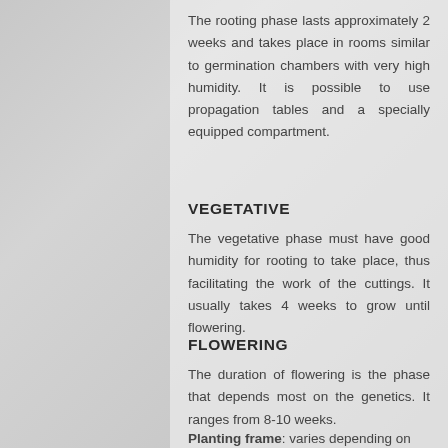The rooting phase lasts approximately 2 weeks and takes place in rooms similar to germination chambers with very high humidity. It is possible to use propagation tables and a specially equipped compartment.
VEGETATIVE
The vegetative phase must have good humidity for rooting to take place, thus facilitating the work of the cuttings. It usually takes 4 weeks to grow until flowering.
FLOWERING
The duration of flowering is the phase that depends most on the genetics. It ranges from 8-10 weeks.
Planting frame: varies depending on